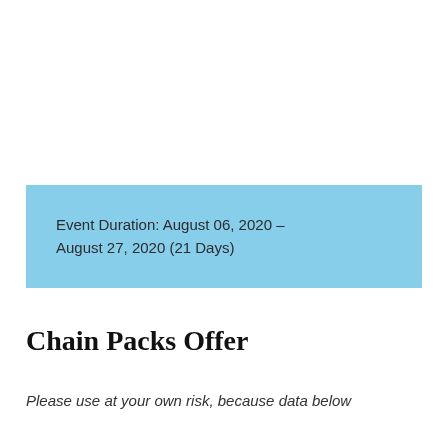Event Duration: August 06, 2020 – August 27, 2020 (21 Days)
Chain Packs Offer
Please use at your own risk, because data below